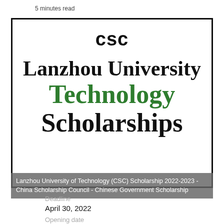5 minutes read
[Figure (illustration): CSC logo and Lanzhou University Technology Scholarships text graphic inside a black border box. Shows 'CSC' at top in bold, then 'Lanzhou University' in large black serif, 'Technology' in large green bold serif, 'Scholarships' in large black bold serif.]
Lanzhou University of Technology (CSC) Scholarship 2022-2023 - China Scholarship Council - Chinese Government Scholarship
Deadline
April 30, 2022
Opening date